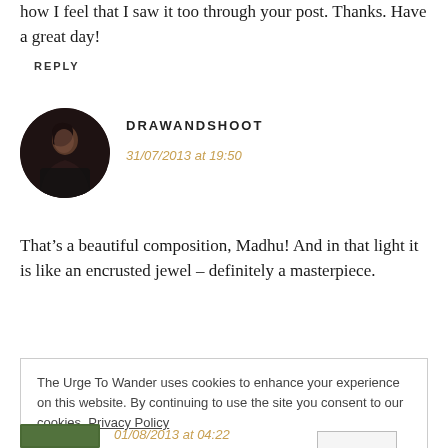how I feel that I saw it too through your post. Thanks. Have a great day!
REPLY
[Figure (photo): Circular avatar photo of a person in profile, dark background]
DRAWANDSHOOT
31/07/2013 at 19:50
That’s a beautiful composition, Madhu! And in that light it is like an encrusted jewel – definitely a masterpiece.
The Urge To Wander uses cookies to enhance your experience on this website. By continuing to use the site you consent to our cookies. Privacy Policy
OK